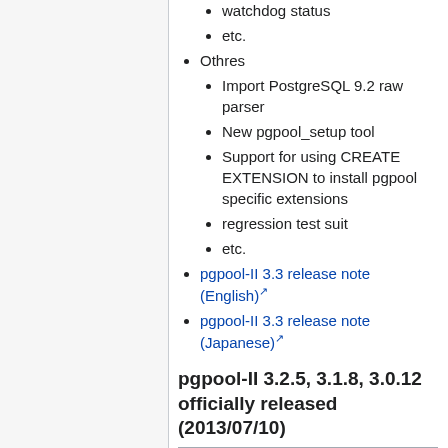watchdog status
etc.
Othres
Import PostgreSQL 9.2 raw parser
New pgpool_setup tool
Support for using CREATE EXTENSION to install pgpool specific extensions
regression test suit
etc.
pgpool-II 3.3 release note (English)
pgpool-II 3.3 release note (Japanese)
pgpool-II 3.2.5, 3.1.8, 3.0.12 officially released (2013/07/10)
These are the latest stable versions of each major branches.